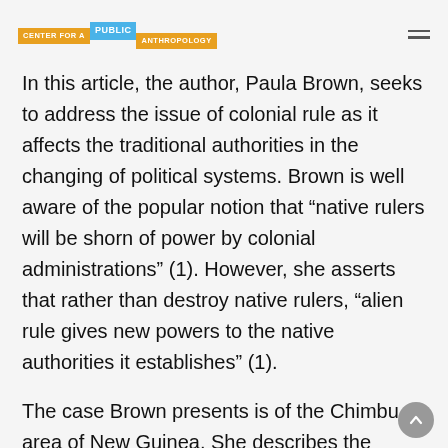CENTER FOR A PUBLIC ANTHROPOLOGY
In this article, the author, Paula Brown, seeks to address the issue of colonial rule as it affects the traditional authorities in the changing of political systems. Brown is well aware of the popular notion that “native rulers will be shorn of power by colonial administrations” (1). However, she asserts that rather than destroy native rulers, “alien rule gives new powers to the native authorities it establishes” (1).
The case Brown presents is of the Chimbu area of New Guinea. She describes the societies as stateless, or tribal, with small,